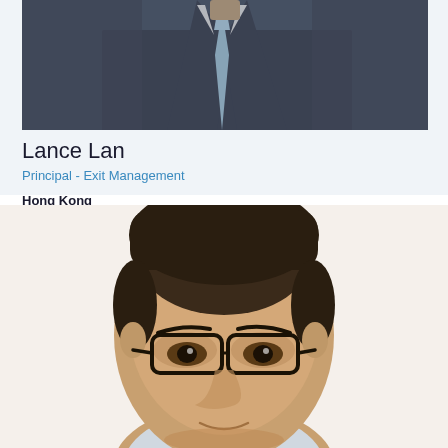[Figure (photo): Professional headshot of Lance Lan wearing a dark suit and light blue tie, cropped at shoulder level]
Lance Lan
Principal - Exit Management
Hong Kong
[Figure (photo): Professional portrait photo of a middle-aged Asian man with glasses and short dark hair, wearing a light shirt, neutral expression]